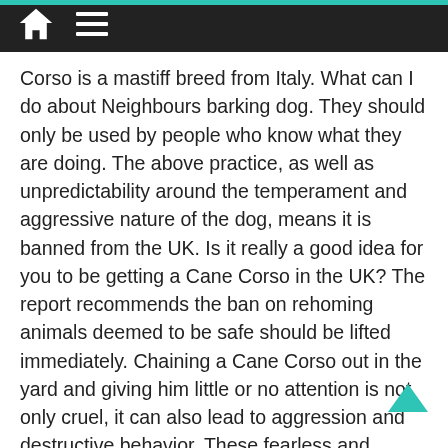Corso is a mastiff breed from Italy. What can I do about Neighbours barking dog. They should only be used by people who know what they are doing. The above practice, as well as unpredictability around the temperament and aggressive nature of the dog, means it is banned from the UK. Is it really a good idea for you to be getting a Cane Corso in the UK? The report recommends the ban on rehoming animals deemed to be safe should be lifted immediately. Chaining a Cane Corso out in the yard and giving him little or no attention is not only cruel, it can also lead to aggression and destructive behavior. These fearless and vigilant dogs are not right for everyone. For starters, he is a giant breed, weighing up to 120 pounds. There are presently only about 20 in Australia. The Cane Corso is also known as Dogo di Puglia, which means "dog of Puglia." This is especially important for those dogs that have pendulous